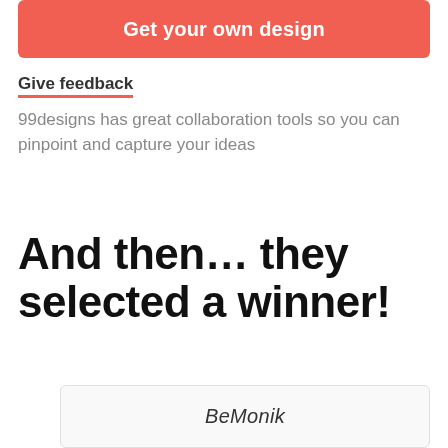[Figure (other): Red/coral rounded button with white bold text 'Get your own design']
Give feedback
99designs has great collaboration tools so you can pinpoint and capture your ideas
And then… they selected a winner!
[Figure (other): White card with italic text 'BeMonik' and a button below]